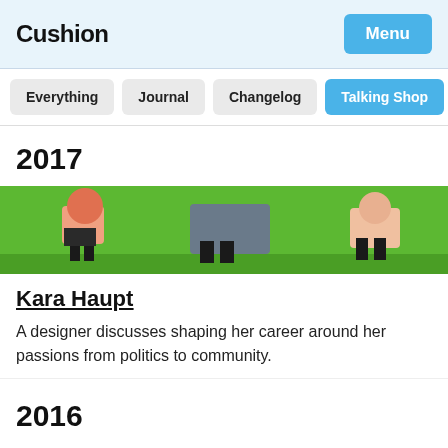Cushion | Menu
Everything
Journal
Changelog
Talking Shop
2017
[Figure (illustration): Illustrated image showing stylized figures on a green background, partially cropped — depicting people in a casual outdoor scene with bold graphic colors.]
Kara Haupt
A designer discusses shaping her career around her passions from politics to community.
2016